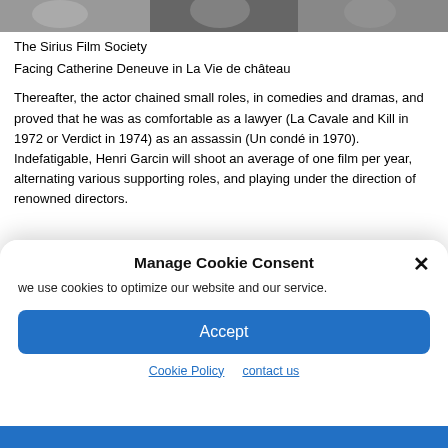[Figure (photo): Black and white photo strip at the top of the page showing people, partially cropped]
The Sirius Film Society
Facing Catherine Deneuve in La Vie de château
Thereafter, the actor chained small roles, in comedies and dramas, and proved that he was as comfortable as a lawyer (La Cavale and Kill in 1972 or Verdict in 1974) as an assassin (Un condé in 1970). Indefatigable, Henri Garcin will shoot an average of one film per year, alternating various supporting roles, and playing under the direction of renowned directors.
Manage Cookie Consent
we use cookies to optimize our website and our service.
Accept
Cookie Policy   contact us